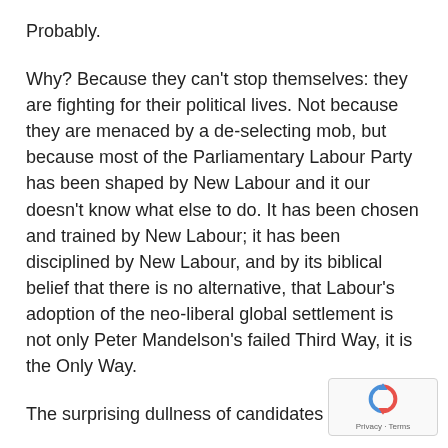Probably.
Why? Because they can't stop themselves: they are fighting for their political lives. Not because they are menaced by a de-selecting mob, but because most of the Parliamentary Labour Party has been shaped by New Labour and it our doesn't know what else to do. It has been chosen and trained by New Labour; it has been disciplined by New Labour, and by its biblical belief that there is no alternative, that Labour's adoption of the neo-liberal global settlement is not only Peter Mandelson's failed Third Way, it is the Only Way.
The surprising dullness of candidates